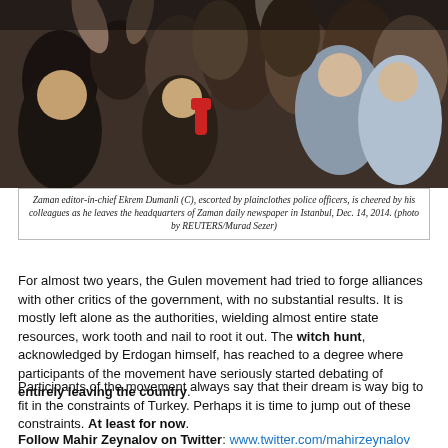[Figure (photo): Crowd scene showing Zaman editor-in-chief Ekrem Dumanli being escorted by plainclothes police officers while being cheered by colleagues]
Zaman editor-in-chief Ekrem Dumanli (C), escorted by plainclothes police officers, is cheered by his colleagues as he leaves the headquarters of Zaman daily newspaper in Istanbul, Dec. 14, 2014. (photo by REUTERS/Murad Sezer)
For almost two years, the Gulen movement had tried to forge alliances with other critics of the government, with no substantial results. It is mostly left alone as the authorities, wielding almost entire state resources, work tooth and nail to root it out. The witch hunt, acknowledged by Erdogan himself, has reached to a degree where participants of the movement have seriously started debating of entirely leaving the country.
Participants of the movement always say that their dream is way big to fit in the constraints of Turkey. Perhaps it is time to jump out of these constraints. At least for now.
Follow Mahir Zeynalov on Twitter: www.twitter.com/mahirzeynalov